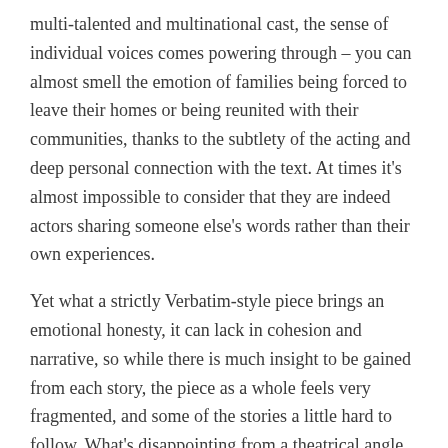multi-talented and multinational cast, the sense of individual voices comes powering through – you can almost smell the emotion of families being forced to leave their homes or being reunited with their communities, thanks to the subtlety of the acting and deep personal connection with the text. At times it's almost impossible to consider that they are indeed actors sharing someone else's words rather than their own experiences.
Yet what a strictly Verbatim-style piece brings an emotional honesty, it can lack in cohesion and narrative, so while there is much insight to be gained from each story, the piece as a whole feels very fragmented, and some of the stories a little hard to follow. What's disappointing from a theatrical angle is not being able to see individual stories and characters evolve over the duration of the piece to create more narrative drive – I really wanted several of the characters presented to come back and share more of their journey to bring a greater sense of resolution – though the chronological structure of the piece does go some